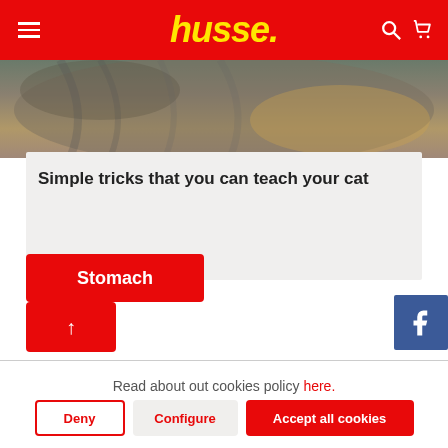husse.
[Figure (photo): Close-up photo of a tabby cat]
Simple tricks that you can teach your cat
Stomach ↑
Read about out cookies policy here.
Deny | Configure | Accept all cookies